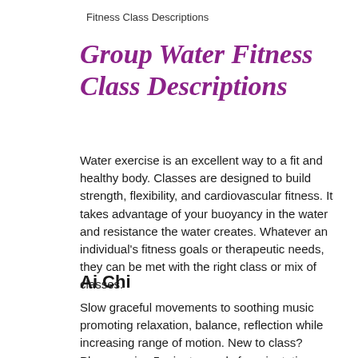Fitness Class Descriptions
Group Water Fitness Class Descriptions
Water exercise is an excellent way to a fit and healthy body. Classes are designed to build strength, flexibility, and cardiovascular fitness. It takes advantage of your buoyancy in the water and resistance the water creates. Whatever an individual's fitness goals or therapeutic needs, they can be met with the right class or mix of classes.
Ai Chi
Slow graceful movements to soothing music promoting relaxation, balance, reflection while increasing range of motion. New to class? Please arrive 5 minutes early for orientation.